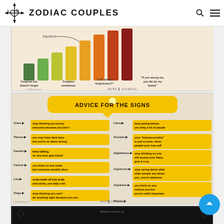LOVE ZODIAC COUPLES
[Figure (infographic): Partial bar chart infographic about zodiac forgiveness levels with colored bars (green, yellow, orange, red) and labels: Aquarius, Forgives but doesn't forget, Forgives sometimes, LOL what's forgiveness?, If you wrong me, you die by my hands. MindJournal logo.]
[Figure (infographic): Advice for the Signs infographic. Yellow speech bubble title. Grid of zodiac signs with advice: Aries - stop thinking you annoy everyone because you don't; Libra - keep giving advice, you help a lot of people; Taurus - you may have dark days but you're so damn strong; Scorpio - your bad personality is just a cover, show people your true self; Gemini - keep talking, no one ever gets bored; Sagittarius - stop thinking no one will accept your flaws, give it a try; Cancer - you think no one cares but someone actually does; Capricorn - stop caring about what other people say about you, you're awesome; Leo - underneath all that pride and vanity, you help a lot of people; Aquarius - you think no one notices you but you're really important; Virgo - stop thinking you can't do anything right because you can; Pisces - don't let anyone stand in the way of your dreams, keep going. MindJournal logo.]
[Figure (infographic): What can they do for you? infographic with dark background, white and yellow text. MindJournal logo at top.]